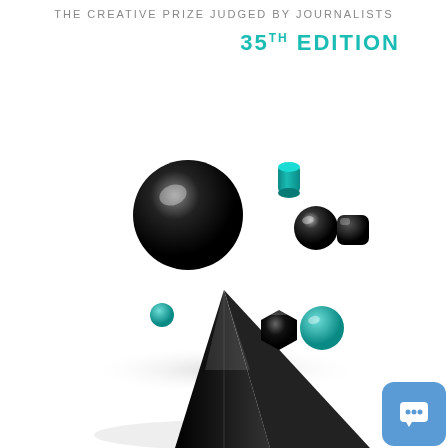THE CREATIVE PRIZE JUDGED BY JOURNALISTS
35TH EDITION
[Figure (illustration): Abstract 3D illustration showing a black glossy pyramid at the bottom with various floating 3D shapes above it: a large black sphere, a small teal cylinder, a medium black sphere, a black rounded square, a small teal sphere, a black hexagonal shape, and a teal sphere, all on a white background.]